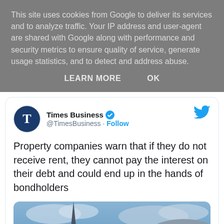This site uses cookies from Google to deliver its services and to analyze traffic. Your IP address and user-agent are shared with Google along with performance and security metrics to ensure quality of service, generate usage statistics, and to detect and address abuse.
LEARN MORE    OK
Times Business @TimesBusiness · Follow
Property companies warn that if they do not receive rent, they cannot pay the interest on their debt and could end up in the hands of bondholders
[Figure (photo): Photograph showing a gothic cathedral spire on the left and the curved metallic disc-pattern facade of the Selfridges building (Birmingham Bullring) on the right, under a cloudy blue sky.]